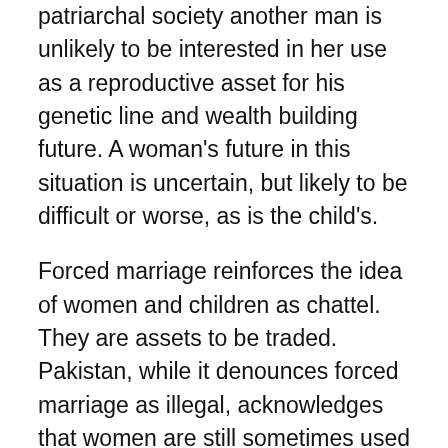patriarchal society another man is unlikely to be interested in her use as a reproductive asset for his genetic line and wealth building future. A woman's future in this situation is uncertain, but likely to be difficult or worse, as is the child's.
Forced marriage reinforces the idea of women and children as chattel. They are assets to be traded. Pakistan, while it denounces forced marriage as illegal, acknowledges that women are still sometimes used in settling intertribal disputes. Since women are chattel in this trade, it is up to the new owner to decide what to do with their new asset. This is bought and sold slavery at its fundamental base. Agencies like Shirkat Gah have a lot of work to do.
Yet, our patriarchal society still thinks forced marriage is funny. We assign shotgun marriages to rubes and hicks